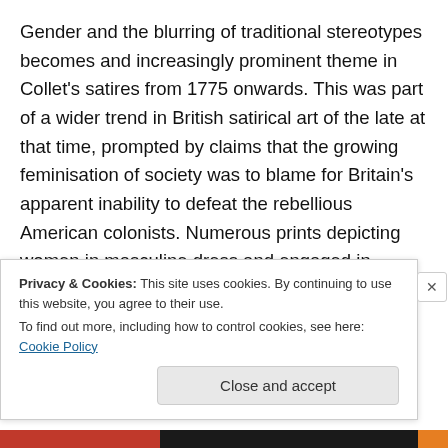Gender and the blurring of traditional stereotypes becomes and increasingly prominent theme in Collet's satires from 1775 onwards. This was part of a wider trend in British satirical art of the late at that time, prompted by claims that the growing feminisation of society was to blame for Britain's apparent inability to defeat the rebellious American colonists. Numerous prints depicting women in masculine dress and engaged in typically male pursuits flooded the windows of London's printshops. While John Collet was not the only artist working in this field, he was probably the most prolific and produced
Privacy & Cookies: This site uses cookies. By continuing to use this website, you agree to their use.
To find out more, including how to control cookies, see here: Cookie Policy
Close and accept